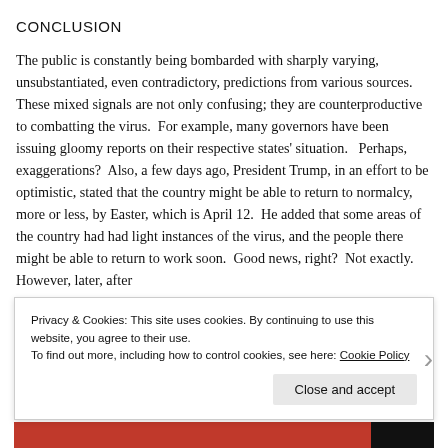CONCLUSION
The public is constantly being bombarded with sharply varying, unsubstantiated, even contradictory, predictions from various sources.  These mixed signals are not only confusing; they are counterproductive to combatting the virus.  For example, many governors have been issuing gloomy reports on their respective states' situation.   Perhaps, exaggerations?  Also, a few days ago, President Trump, in an effort to be optimistic, stated that the country might be able to return to normalcy, more or less, by Easter, which is April 12.  He added that some areas of the country had had light instances of the virus, and the people there might be able to return to work soon.  Good news, right?  Not exactly.  However, later, after
Privacy & Cookies: This site uses cookies. By continuing to use this website, you agree to their use.
To find out more, including how to control cookies, see here: Cookie Policy
Close and accept